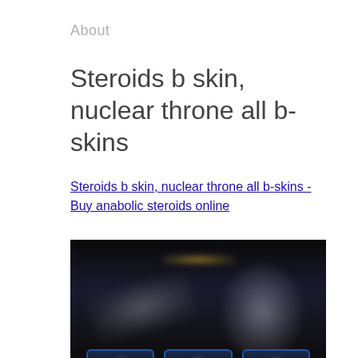About
Steroids b skin, nuclear throne all b-skins
Steroids b skin, nuclear throne all b-skins - Buy anabolic steroids online
[Figure (screenshot): Dark-themed video game screenshot showing a character silhouette and weapon on the upper portion, with three card/ability icons along the bottom row, set against a near-black background.]